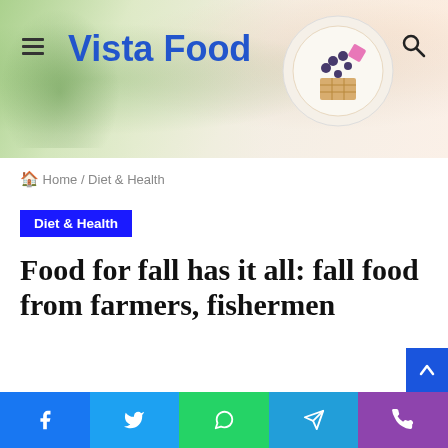Vista Food
Home / Diet & Health
Diet & Health
Food for fall has it all: fall food from farmers, fishermen
Danelle Raygoza · September 17, 2021 · 74 · 6 minutes read